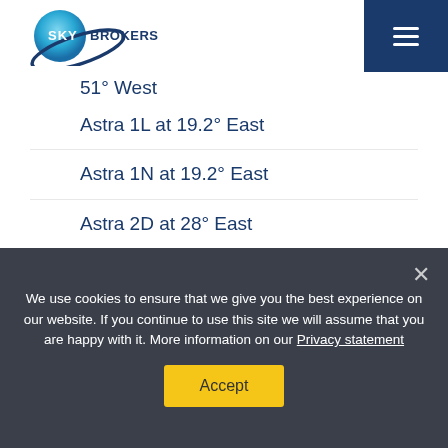[Figure (logo): Sky Brokers logo with globe and orbital ring, blue tones]
…51° West
Astra 1L at 19.2° East
Astra 1N at 19.2° East
Astra 2D at 28° East
Astra 2F/Eutelsat 28F at 28° East
Astra 2G/Eutelsat 28G at 28° East
Astra 3A at 23.5° East
We use cookies to ensure that we give you the best experience on our website. If you continue to use this site we will assume that you are happy with it. More information on our Privacy statement
Accept